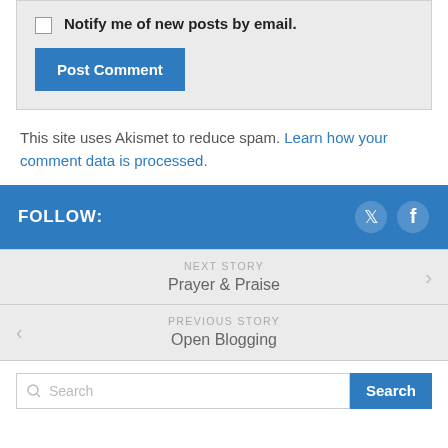Notify me of new posts by email.
Post Comment
This site uses Akismet to reduce spam. Learn how your comment data is processed.
FOLLOW:
NEXT STORY
Prayer & Praise
PREVIOUS STORY
Open Blogging
Search